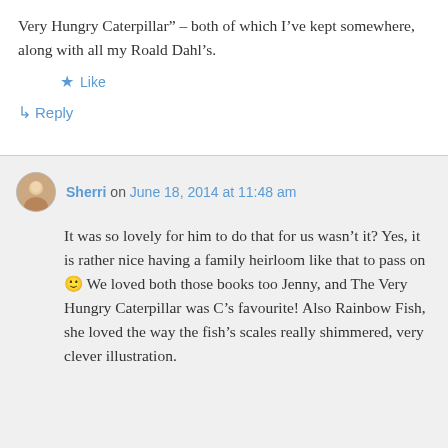Very Hungry Caterpillar” – both of which I’ve kept somewhere, along with all my Roald Dahl’s.
★ Like
↳ Reply
Sherri on June 18, 2014 at 11:48 am
It was so lovely for him to do that for us wasn’t it? Yes, it is rather nice having a family heirloom like that to pass on 🙂 We loved both those books too Jenny, and The Very Hungry Caterpillar was C’s favourite! Also Rainbow Fish, she loved the way the fish’s scales really shimmered, very clever illustration.